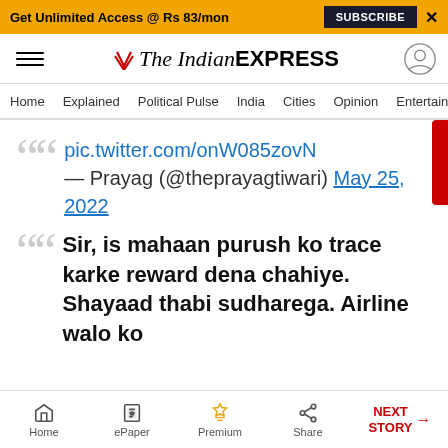Get Unlimited Access @ Rs 83/mon  SUBSCRIBE  X
The Indian EXPRESS
Home  Explained  Political Pulse  India  Cities  Opinion  Entertainment
pic.twitter.com/onW085zovN — Prayag (@theprayagtiwari) May 25, 2022
Sir, is mahaan purush ko trace karke reward dena chahiye. Shayaad thabi sudharega. Airline walo ko
Home  ePaper  Premium  Share  NEXT STORY